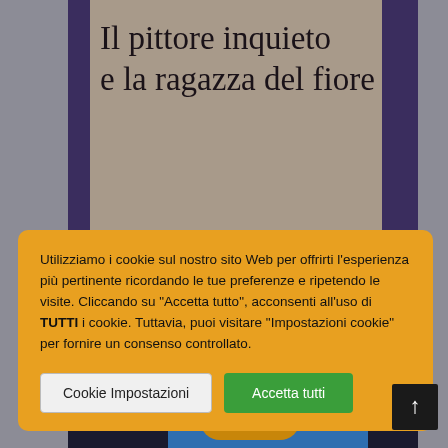[Figure (illustration): Book cover with title 'Il pittore inquieto e la ragazza del fiore' on taupe/mauve background with dark purple vertical bars and gray side strips. Lower portion shows a painted figure in a blue coat holding yellow flowers/hands, set against a dark background.]
Il pittore inquieto e la ragazza del fiore
Utilizziamo i cookie sul nostro sito Web per offrirti l'esperienza più pertinente ricordando le tue preferenze e ripetendo le visite. Cliccando su "Accetta tutto", acconsenti all'uso di TUTTI i cookie. Tuttavia, puoi visitare "Impostazioni cookie" per fornire un consenso controllato.
Cookie Impostazioni
Accetta tutti